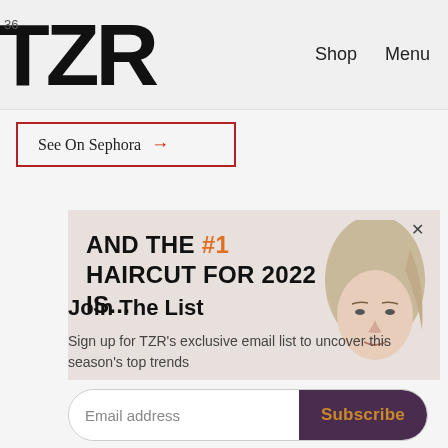TZR — Shop  Menu
See On Sephora →
[Figure (illustration): Banner ad showing text 'AND THE #1 HAIRCUT FOR 2022 IS...' with a woman's face in background]
Join The List
Sign up for TZR's exclusive email list to uncover this season's top trends
Email address  Subscribe